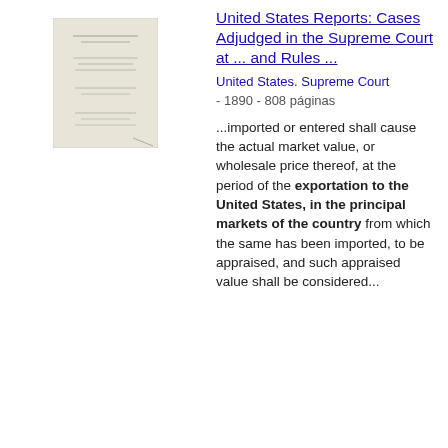[Figure (illustration): Thumbnail image of a book cover for United States Reports, showing the title page of the Supreme Court volume]
United States Reports: Cases Adjudged in the Supreme Court at ... and Rules ...
United States. Supreme Court - 1890 - 808 páginas
...imported or entered shall cause the actual market value, or wholesale price thereof, at the period of the exportation to the United States, in the principal markets of the country from which the same has been imported, to be appraised, and such appraised value shall be considered...